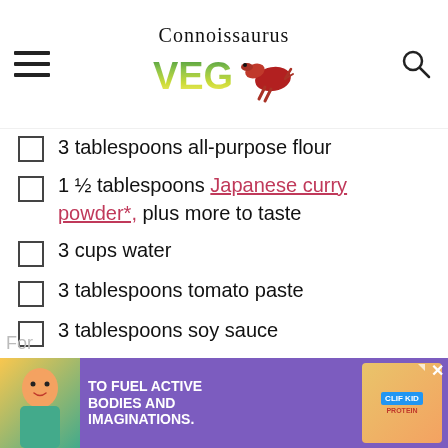Connoissaurus VEG
3 tablespoons all-purpose flour
1 ½ tablespoons Japanese curry powder*, plus more to taste
3 cups water
3 tablespoons tomato paste
3 tablespoons soy sauce
1 ½ tablespoons vegan Worcestershire sauce
[Figure (photo): Advertisement banner with a child and snack product, text reading 'TO FUEL ACTIVE BODIES AND IMAGINATIONS.']